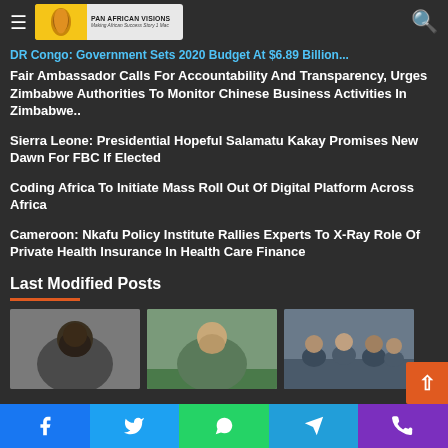Pan African Visions — navigation bar with logo, hamburger menu, and search icon
DR Congo: Government Sets 2020 Budget At $6.89 Billion...
Fair Ambassador Calls For Accountability And Transparency, Urges Zimbabwe Authorities To Monitor Chinese Business Activities In Zimbabwe..
Sierra Leone: Presidential Hopeful Salamatu Kakay Promises New Dawn For FBC If Elected
Coding Africa To Initiate Mass Roll Out Of Digital Platform Across Africa
Cameroon: Nkafu Policy Institute Rallies Experts To X-Ray Role Of Private Health Insurance In Health Care Finance
Last Modified Posts
[Figure (photo): Three thumbnail photos of news articles below the Last Modified Posts section]
Social share buttons: Facebook, Twitter, WhatsApp, Telegram, Phone